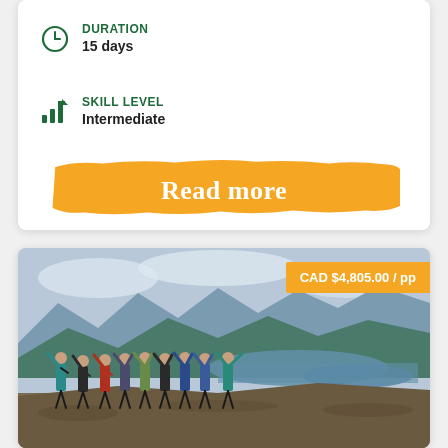DURATION
15 days
SKILL LEVEL
Intermediate
Read more
CAD $4,805.00 / pp
[Figure (photo): Group of hikers standing with arms raised on a rocky hilltop overlooking a river valley with mountains in the background]